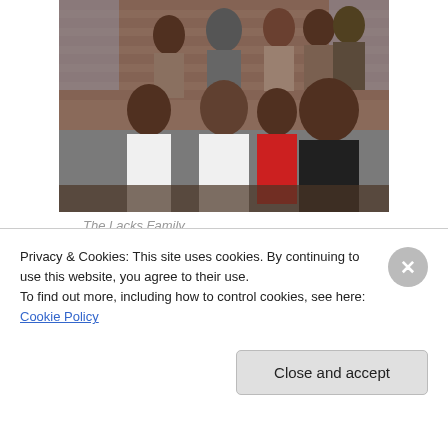[Figure (photo): Group family photo of the Lacks Family standing in front of a brick house. Multiple people of various ages posed together outdoors.]
The Lacks Family
The story is still unfinished. Hela is still out there, making
Privacy & Cookies: This site uses cookies. By continuing to use this website, you agree to their use.
To find out more, including how to control cookies, see here: Cookie Policy
Close and accept